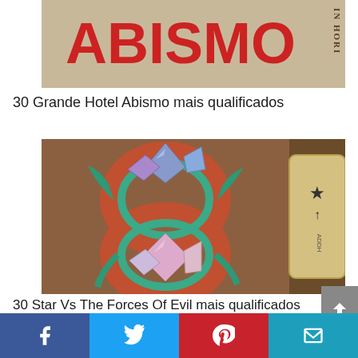[Figure (photo): Book cover of 'Grande Hotel Abismo' showing red and black title text on a textured beige background with vertical text on the right side]
30 Grande Hotel Abismo mais qualificados
[Figure (illustration): Book cover of 'Star Vs The Forces Of Evil' showing a colorful snake figure-8 with gems on a dark brown background, with a mystical card on the right side]
30 Star Vs The Forces Of Evil mais qualificados
Facebook | Twitter | Pinterest | Email share buttons